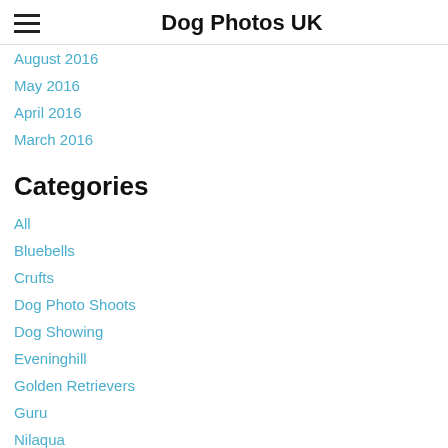Dog Photos UK
August 2016
May 2016
April 2016
March 2016
Categories
All
Bluebells
Crufts
Dog Photo Shoots
Dog Showing
Eveninghill
Golden Retrievers
Guru
Nilaqua
Otto
Photo Blog
PitPat